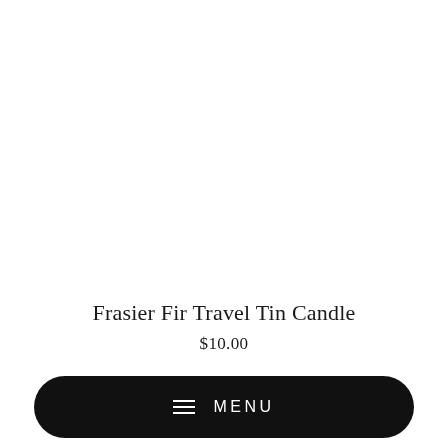Frasier Fir Travel Tin Candle
$10.00
[Figure (other): Black rounded pill-shaped menu button with hamburger icon and MENU text in white]